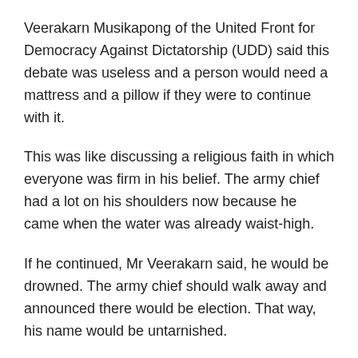Veerakarn Musikapong of the United Front for Democracy Against Dictatorship (UDD) said this debate was useless and a person would need a mattress and a pillow if they were to continue with it.
This was like discussing a religious faith in which everyone was firm in his belief. The army chief had a lot on his shoulders now because he came when the water was already waist-high.
If he continued, Mr Veerakarn said, he would be drowned. The army chief should walk away and announced there would be election. That way, his name would be untarnished.
At this point, Gen Prayuth snapped back: “Stop it. Religious issues I don’t know much about. What I do